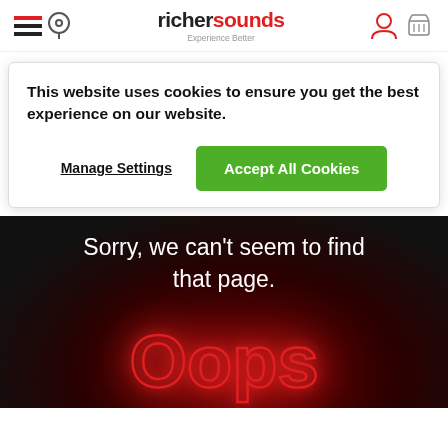richersounds — Experience Better
This website uses cookies to ensure you get the best experience on our website.
Manage Settings | Accept All Cookies
[Figure (screenshot): Dark 404 error page section with white text reading 'Sorry, we can't seem to find that page.' and neon red glowing 'Oops' text below on a dark background.]